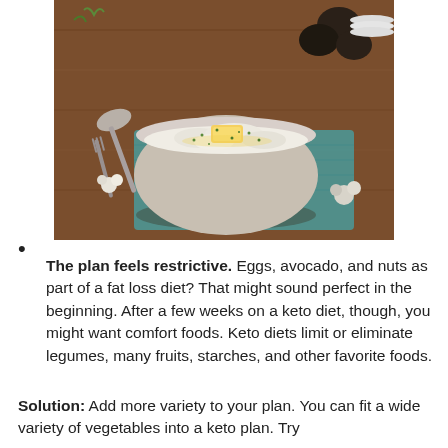[Figure (photo): A bowl of mashed cauliflower or mashed potatoes topped with butter and chives, sitting on a teal cloth napkin on a wooden table, with a spoon, eggs, and cauliflower florets in the background.]
The plan feels restrictive. Eggs, avocado, and nuts as part of a fat loss diet? That might sound perfect in the beginning. After a few weeks on a keto diet, though, you might want comfort foods. Keto diets limit or eliminate legumes, many fruits, starches, and other favorite foods.
Solution: Add more variety to your plan. You can fit a wide variety of vegetables into a keto plan. Try